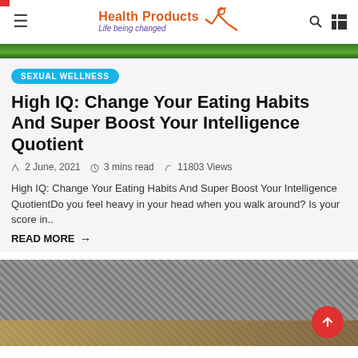Health Products – Life being changed
[Figure (photo): Green foliage image strip at top of article]
SEXUAL WELLNESS
High IQ: Change Your Eating Habits And Super Boost Your Intelligence Quotient
2 June, 2021  3 mins read  11803 Views
High IQ: Change Your Eating Habits And Super Boost Your Intelligence QuotientDo you feel heavy in your head when you walk around? Is your score in..
READ MORE →
[Figure (photo): Food/meal image at bottom of page with textured background]